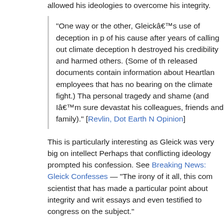allowed his ideologies to overcome his integrity.
“One way or the other, Gleick’s use of deception in promoting of his cause after years of calling out climate deception has destroyed his credibility and harmed others. (Some of the released documents contain information about Heartland employees that has no bearing on the climate fight.) That’s a personal tragedy and shame (and I’m sure devastating to his colleagues, friends and family).” [Revlin, Dot Earth NY Times Opinion]
This is particularly interesting as Gleick was very big on intellectual honesty. Perhaps that conflicting ideology prompted his confession. See Breaking News: Gleick Confesses — “The irony of it all, this comes from a scientist that has made a particular point about integrity and writing essays and even testified to congress on the subject.”
In science education, observer bias is a big deal. The lesson is that good science starts with being aware of any possible way the scientist may bias his observations in even very subtle ways and to seek outside review and criticism to help in the effort. It is a lesson that even some disting